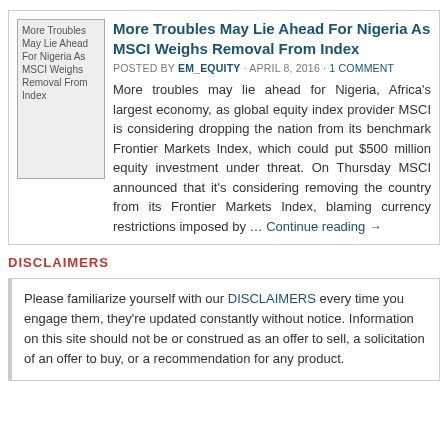[Figure (illustration): Thumbnail image placeholder for article about Nigeria and MSCI index removal]
More Troubles May Lie Ahead For Nigeria As MSCI Weighs Removal From Index
POSTED BY EM_EQUITY · APRIL 8, 2016 · 1 COMMENT
More troubles may lie ahead for Nigeria, Africa's largest economy, as global equity index provider MSCI is considering dropping the nation from its benchmark Frontier Markets Index, which could put $500 million equity investment under threat. On Thursday MSCI announced that it's considering removing the country from its Frontier Markets Index, blaming currency restrictions imposed by ... Continue reading →
DISCLAIMERS
Please familiarize yourself with our DISCLAIMERS every time you engage them, they're updated constantly without notice. Information on this site should not be or construed as an offer to sell, a solicitation of an offer to buy, or a recommendation for any product.